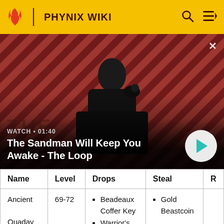PHYNIX WIKI
[Figure (screenshot): Video banner showing 'The Sandman Will Keep You Awake - The Loop' with a man in dark clothing and a raven on a red/black striped background. WATCH • 01:40 label and play button visible.]
| Name | Level | Drops | Steal | R |
| --- | --- | --- | --- | --- |
| Ancient Quadav | 69-72 | Beadeaux Coffer Key
Warrior's... | Gold Beastcoin |  |